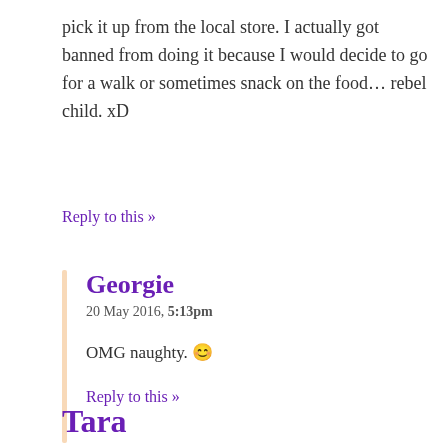pick it up from the local store. I actually got banned from doing it because I would decide to go for a walk or sometimes snack on the food… rebel child. xD
Reply to this »
Georgie
20 May 2016, 5:13pm
OMG naughty. 😊
Reply to this »
Tara